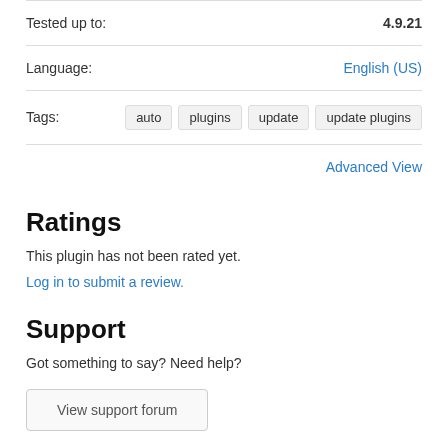Tested up to: 4.9.21
Language: English (US)
Tags: auto  plugins  update  update plugins
Advanced View
Ratings
This plugin has not been rated yet.
Log in to submit a review.
Support
Got something to say? Need help?
View support forum